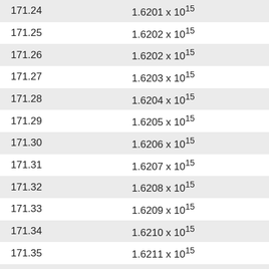| 171.24 | 1.6201 x 10¹⁵ |
| 171.25 | 1.6202 x 10¹⁵ |
| 171.26 | 1.6202 x 10¹⁵ |
| 171.27 | 1.6203 x 10¹⁵ |
| 171.28 | 1.6204 x 10¹⁵ |
| 171.29 | 1.6205 x 10¹⁵ |
| 171.30 | 1.6206 x 10¹⁵ |
| 171.31 | 1.6207 x 10¹⁵ |
| 171.32 | 1.6208 x 10¹⁵ |
| 171.33 | 1.6209 x 10¹⁵ |
| 171.34 | 1.6210 x 10¹⁵ |
| 171.35 | 1.6211 x 10¹⁵ |
| 171.36 | 1.6212 x 10¹⁵ |